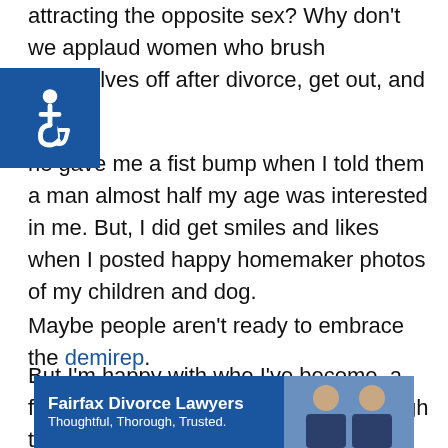attracting the opposite sex? Why don't we applaud women who brush themselves off after divorce, get out, and live?
[Figure (other): Accessibility icon — white wheelchair symbol on blue square background]
ne gave me a fist bump when I told them a man almost half my age was interested in me. But, I did get smiles and likes when I posted happy homemaker photos of my children and dog.
Maybe people aren't ready to embrace the demirep.
But I'm happy with who I've become, a free person who's been fortunate enough to share company with some amazing individuals.
I'm happy my ex found a steady partner who's good to my kids. I'm happy my children tell me I'm hip, fun, strict, and
[Figure (photo): Advertisement banner for Fairfax Divorce Lawyers with text 'Fairfax Divorce Lawyers Thoughtful, Thorough, Trusted.' and photos of two men in suits]